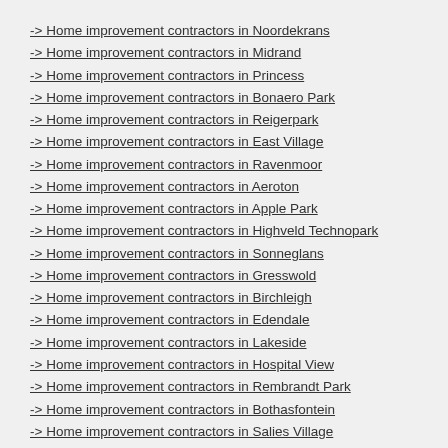-> Home improvement contractors in Noordekrans
-> Home improvement contractors in Midrand
-> Home improvement contractors in Princess
-> Home improvement contractors in Bonaero Park
-> Home improvement contractors in Reigerpark
-> Home improvement contractors in East Village
-> Home improvement contractors in Ravenmoor
-> Home improvement contractors in Aeroton
-> Home improvement contractors in Apple Park
-> Home improvement contractors in Highveld Technopark
-> Home improvement contractors in Sonneglans
-> Home improvement contractors in Gresswold
-> Home improvement contractors in Birchleigh
-> Home improvement contractors in Edendale
-> Home improvement contractors in Lakeside
-> Home improvement contractors in Hospital View
-> Home improvement contractors in Rembrandt Park
-> Home improvement contractors in Bothasfontein
-> Home improvement contractors in Salies Village
-> Home improvement contractors in Cloverdene
-> Home improvement contractors in Craighall
-> Home improvement contractors in Wannenburg
-> Home improvement contractors in Vredepark
-> Home improvement contractors in Dennehof